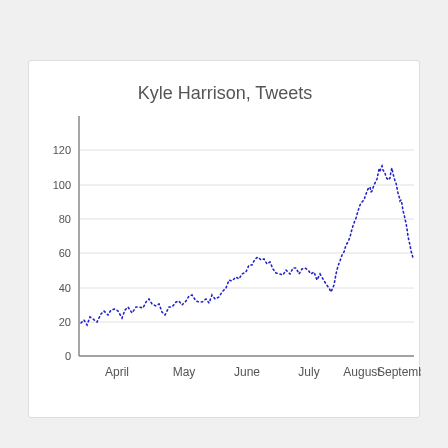[Figure (continuous-plot): Dotted blue line chart showing Kyle Harrison's tweet counts from approximately late March through early September. Values start around 18-20 in late March/early April, rise to ~38 in late April, climb steadily to a peak of ~60-62 in early June, drop to ~37-38 in mid-July, surge sharply to a peak of ~135 in mid-August, then decline to ~55 by early September.]